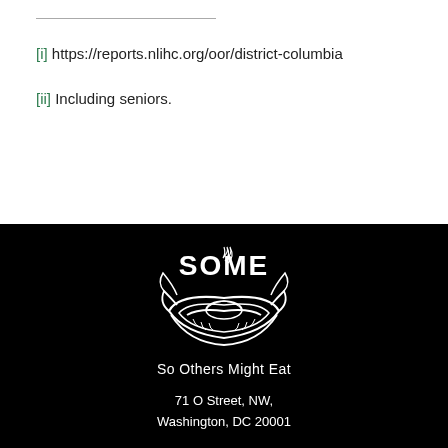[i] https://reports.nlihc.org/oor/district-columbia
[ii] Including seniors.
[Figure (logo): SOME (So Others Might Eat) logo — white line-art showing hands holding bread/food inside a stylized bowl/wings shape, with 'SOME' text above on black background]
So Others Might Eat
71 O Street, NW, Washington, DC 20001